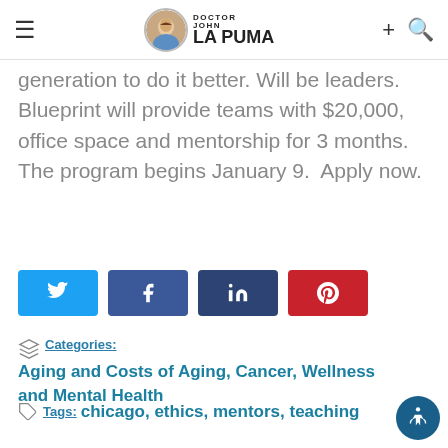Doctor John La Puma
generation to do it better. Will be leaders.  Blueprint will provide teams with $20,000, office space and mentorship for 3 months. The program begins January 9.  Apply now.
[Figure (other): Social share buttons: Twitter, Facebook, LinkedIn, Pinterest]
Categories: Aging and Costs of Aging, Cancer, Wellness and Mental Health
Tags: chicago, ethics, mentors, teaching